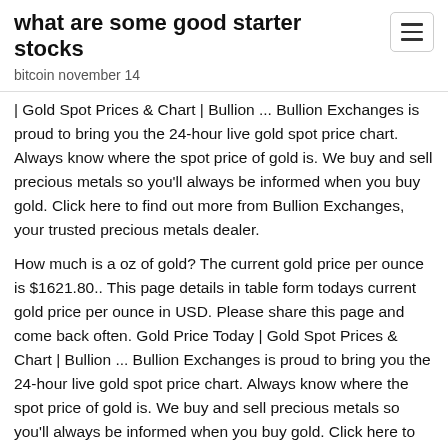what are some good starter stocks
bitcoin november 14
| Gold Spot Prices & Chart | Bullion ... Bullion Exchanges is proud to bring you the 24-hour live gold spot price chart. Always know where the spot price of gold is. We buy and sell precious metals so you'll always be informed when you buy gold. Click here to find out more from Bullion Exchanges, your trusted precious metals dealer.
How much is a oz of gold? The current gold price per ounce is $1621.80.. This page details in table form todays current gold price per ounce in USD. Please share this page and come back often. Gold Price Today | Gold Spot Prices & Chart | Bullion ... Bullion Exchanges is proud to bring you the 24-hour live gold spot price chart. Always know where the spot price of gold is. We buy and sell precious metals so you'll always be informed when you buy gold. Click here to find out more from Bullion Exchanges, your trusted precious metals dealer. Silver Price per Ounce The silver price per ounce began to climb around